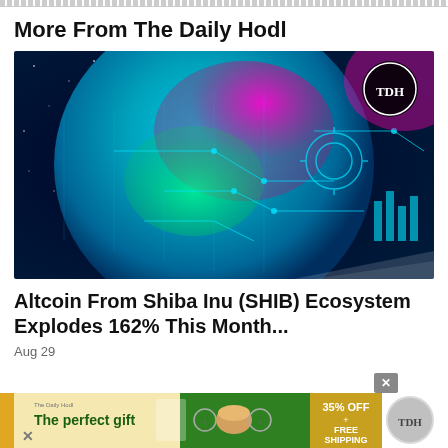More From The Daily Hodl
[Figure (illustration): Colorful futuristic digital globe with circuit board patterns in blue, teal, green, and magenta. TDH logo in top right corner.]
Altcoin From Shiba Inu (SHIB) Ecosystem Explodes 162% This Month...
Aug 29
[Figure (illustration): Advertisement banner: The perfect gift - 35% OFF + FREE SHIPPING with TDH logo]